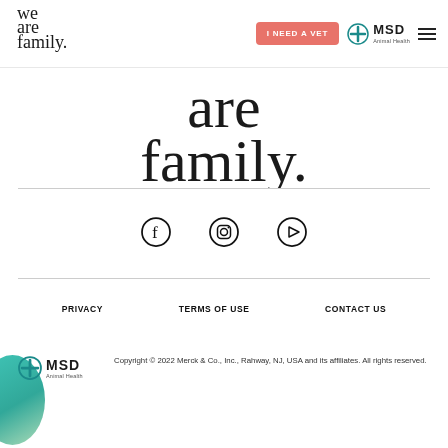[Figure (logo): We Are Family handwritten script logo in top left of navbar]
[Figure (logo): I NEED A VET button in coral/red color in navbar]
[Figure (logo): MSD Animal Health logo in navbar]
[Figure (illustration): Large handwritten script text reading 'are family.' as hero text]
[Figure (illustration): Social media icons: Facebook, Instagram, YouTube]
PRIVACY    TERMS OF USE    CONTACT US
[Figure (logo): MSD Animal Health logo in footer bottom left]
Copyright © 2022 Merck & Co., Inc., Rahway, NJ, USA and its affiliates. All rights reserved.